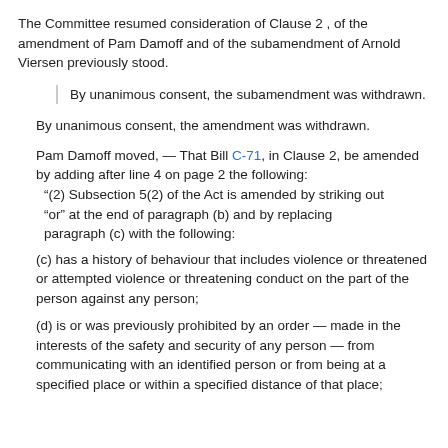The Committee resumed consideration of Clause 2, of the amendment of Pam Damoff and of the subamendment of Arnold Viersen previously stood.
By unanimous consent, the subamendment was withdrawn.
By unanimous consent, the amendment was withdrawn.
Pam Damoff moved, — That Bill C-71, in Clause 2, be amended by adding after line 4 on page 2 the following:
“(2) Subsection 5(2) of the Act is amended by striking out “or” at the end of paragraph (b) and by replacing paragraph (c) with the following:
(c) has a history of behaviour that includes violence or threatened or attempted violence or threatening conduct on the part of the person against any person;
(d) is or was previously prohibited by an order — made in the interests of the safety and security of any person — from communicating with an identified person or from being at a specified place or within a specified distance of that place;